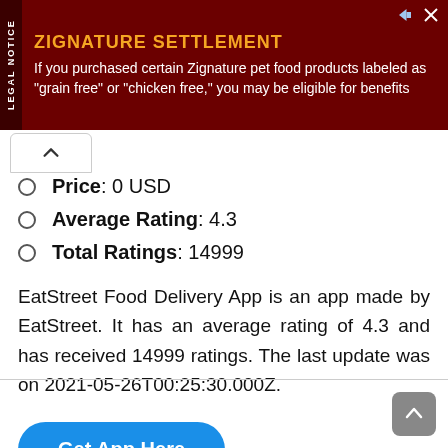[Figure (other): Advertisement banner for Zignature Settlement with dark red background, yellow title 'ZIGNATURE SETTLEMENT' and white body text about pet food products. Has 'LEGAL NOTICE' sidebar text on left.]
Price: 0 USD
Average Rating: 4.3
Total Ratings: 14999
EatStreet Food Delivery App is an app made by EatStreet. It has an average rating of 4.3 and has received 14999 ratings. The last update was on 2021-05-26T00:25:30.000Z.
Get App Here